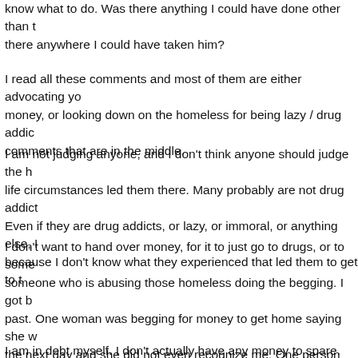know what to do. Was there anything I could have done other than t... there anywhere I could have taken him?
I read all these comments and most of them are either advocating y... money, or looking down on the homeless for being lazy / drug addict... comments that are in the middle.
I am not judging anyone, and I don't think anyone should judge the h... life circumstances led them there. Many probably are not drug addict... Even if they are drug addicts, or lazy, or immoral, or anything else, I... because I don't know what they experienced that led them to get to t...
I don't want to hand over money, for it to just go to drugs, or to some... someone who is abusing those homeless doing the begging. I got b... past. One woman was begging for money to get home saying she w... the next day and she did not even recognize me. One person was b... was hungry, a woman gave him her own lunch she packed and he r... judging those people, even if they are lying and stealing. I am sayin... change will help.
I am in debt myself. I don't actually have any money to spare. But I w...